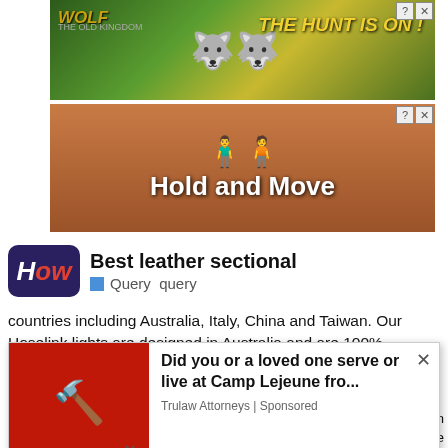[Figure (screenshot): Wolf game advertisement banner with wolves and yellow flowers, text 'THE HUNT IS ON!']
[Figure (screenshot): Hold and Move app advertisement with blue figure icons on brown background]
Best leather sectional
Query  query
countries including Australia, Italy, China and Taiwan. Our Hoselink lights are designed in Australia and are 100% Australian owned. Is Hoselink also sold by Bunnings? A. You will not find Hoselink products in stores such as Bunnings, Miter10 or other retailers. You might also be wondering if hose is a good thing? Quality. There is a good reason why most people give the Hoselink…
[Figure (screenshot): Pop-up advertisement: 'Did you or a loved one serve or live at Camp Lejeune fro...' from Trulaw Attorneys, Sponsored. Shows gavel image on red background.]
You r reality leathε
[Figure (screenshot): Hold and Move advertisement bottom banner with dark background]
n enuine low is